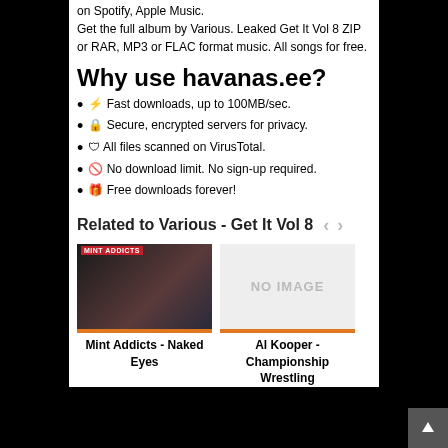on Spotify, Apple Music. Get the full album by Various. Leaked Get It Vol 8 ZIP or RAR, MP3 or FLAC format music. All songs for free.
Why use havanas.ee?
⚡ Fast downloads, up to 100MB/sec.
🔒 Secure, encrypted servers for privacy.
🛡 All files scanned on VirusTotal.
🚫 No download limit. No sign-up required.
🎁 Free downloads forever!
Related to Various - Get It Vol 8
[Figure (photo): Album cover for Mint Addicts - Naked Eyes]
Mint Addicts - Naked Eyes
[Figure (photo): No image placeholder for Al Kooper - Championship Wrestling]
Al Kooper - Championship Wrestling